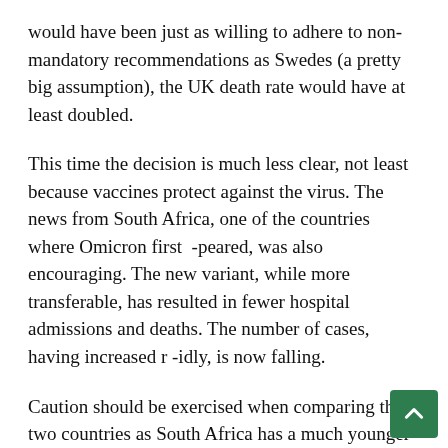would have been just as willing to adhere to non-mandatory recommendations as Swedes (a pretty big assumption), the UK death rate would have at least doubled.
This time the decision is much less clear, not least because vaccines protect against the virus. The news from South Africa, one of the countries where Omicron first -peared, was also encouraging. The new variant, while more transferable, has resulted in fewer hospital admissions and deaths. The number of cases, having increased r -idly, is now falling.
Caution should be exercised when comparing the two countries as South Africa has a much younger population than the UK and it tends to be summer rather than the middle of winter. Even so, it is clear that the government has set the bar high for further restrictions.